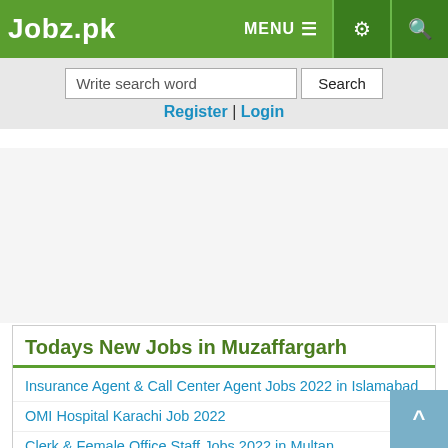Jobz.pk
Write search word | Search
Register | Login
[Figure (other): Advertisement placeholder space]
Todays New Jobs in Muzaffargarh
Insurance Agent & Call Center Agent Jobs 2022 in Islamabad
OMI Hospital Karachi Job 2022
Clerk & Female Office Staff Jobs 2022 in Multan
Factory Worker Jobs Open in UAE 2022
University of Agriculture UAF Faisalabad Job 2022
Male & Female Office Staff Jobs 2022 in Karachi
Electrical Technician & HVAC Technician Jobs 2022
Housing Scheme Para Chinar Job 2022
Security Staff & Clerk Jobs 2022 in Lahore